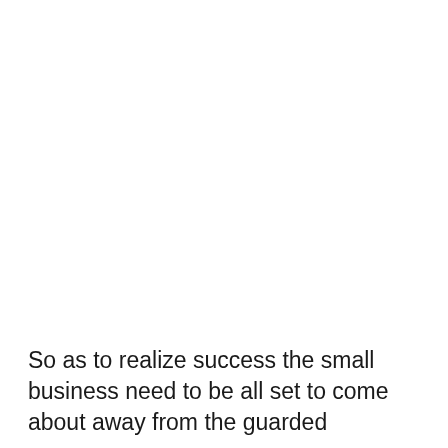So as to realize success the small business need to be all set to come about away from the guarded surroundings from it because the business abilities